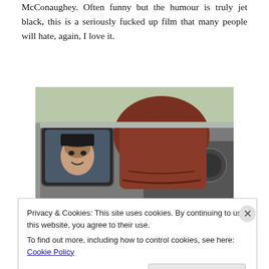McConaughey. Often funny but the humour is truly jet black, this is a seriously fucked up film that many people will hate, again, I love it.
[Figure (photo): A movie still showing a person's face reflected in a car side mirror, with a shoe or large object visible through the car window.]
The Raid
Budget: $1,100,000 (estimated)
Privacy & Cookies: This site uses cookies. By continuing to use this website, you agree to their use.
To find out more, including how to control cookies, see here: Cookie Policy
Close and accept